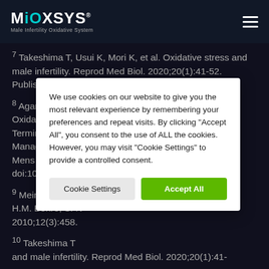MiOXSYS — Male Infertility Oxidative System
7 Takeshima T, Usui K, Mori K, et al. Oxidative stress and male infertility. Reprod Med Biol. 2020;20(1):41-52. Published 2020 Oct 18. doi:10.1002/rmb2.12353
8 Agarwal A, Pa[...] Oxidative Stress [...] Terminology a[...] Management o[...] Mens Health. 20[...] doi:10.5534/wjm[...]
9 Meinhardt A. [...] H.M. Behre, S. N[...] 2010;12(3):458[...]
10 Takeshima T[...] and male infertility. Reprod Med Biol. 2020;20(1):41-[...]
We use cookies on our website to give you the most relevant experience by remembering your preferences and repeat visits. By clicking "Accept All", you consent to the use of ALL the cookies. However, you may visit "Cookie Settings" to provide a controlled consent.